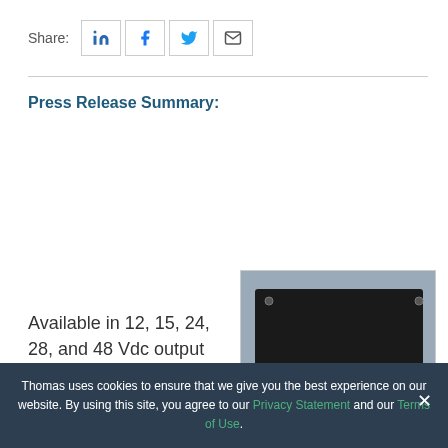Share:
[Figure (other): Social share icons: LinkedIn, Facebook, Twitter, Email]
Press Release Summary:
Available in 12, 15, 24, 28, and 48 Vdc output models, 240 W LP Series DC/DC converters
[Figure (photo): Photo of a Calex 24S12.20LP DC/DC converter power supply module, black metal enclosure with label showing CALEX branding and model number, with pins extending from the bottom, on a metallic surface.]
Thomas uses cookies to ensure that we give you the best experience on our website. By using this site, you agree to our Privacy Statement and our Terms of Use.